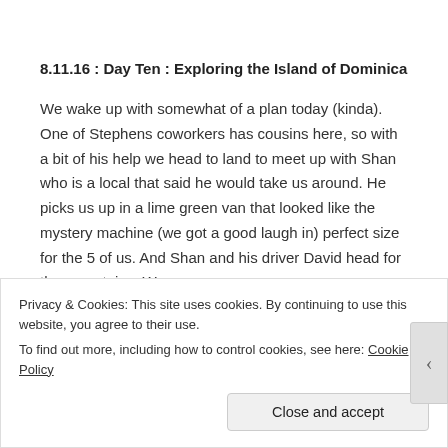8.11.16 : Day Ten : Exploring the Island of Dominica
We wake up with somewhat of a plan today (kinda). One of Stephens coworkers has cousins here, so with a bit of his help we head to land to meet up with Shan who is a local that said he would take us around. He picks us up in a lime green van that looked like the mystery machine (we got a good laugh in) perfect size for the 5 of us. And Shan and his driver David head for the mountains. We
Privacy & Cookies: This site uses cookies. By continuing to use this website, you agree to their use.
To find out more, including how to control cookies, see here: Cookie Policy
Close and accept